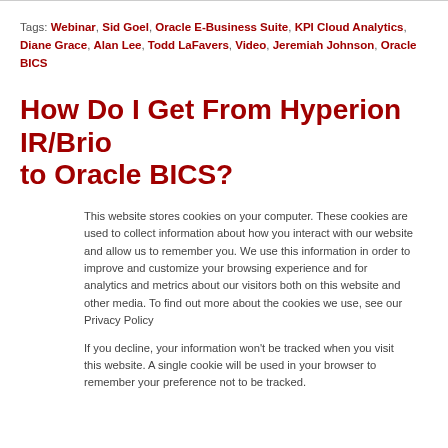Tags: Webinar, Sid Goel, Oracle E-Business Suite, KPI Cloud Analytics, Diane Grace, Alan Lee, Todd LaFavers, Video, Jeremiah Johnson, Oracle BICS
How Do I Get From Hyperion IR/Brio to Oracle BICS?
This website stores cookies on your computer. These cookies are used to collect information about how you interact with our website and allow us to remember you. We use this information in order to improve and customize your browsing experience and for analytics and metrics about our visitors both on this website and other media. To find out more about the cookies we use, see our Privacy Policy
If you decline, your information won't be tracked when you visit this website. A single cookie will be used in your browser to remember your preference not to be tracked.